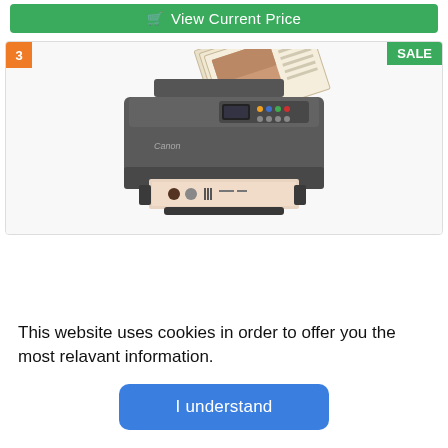[Figure (other): Green button with shopping cart icon and text 'View Current Price']
[Figure (photo): Canon all-in-one inkjet printer (dark gray) with papers loaded in the ADF and a printed page coming out of the output tray. Badge '3' in orange top-left, 'SALE' badge in green top-right.]
This website uses cookies in order to offer you the most relavant information.
I understand